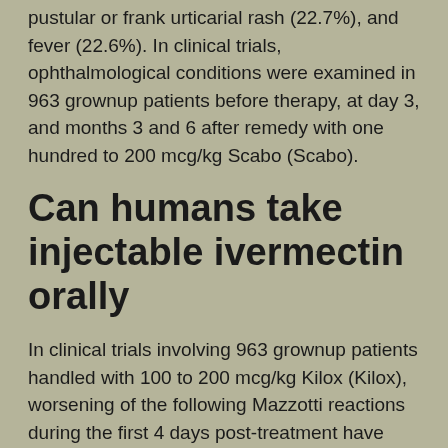pustular or frank urticarial rash (22.7%), and fever (22.6%). In clinical trials, ophthalmological conditions were examined in 963 grownup patients before therapy, at day 3, and months 3 and 6 after remedy with one hundred to 200 mcg/kg Scabo (Scabo).
Can humans take injectable ivermectin orally
In clinical trials involving 963 grownup patients handled with 100 to 200 mcg/kg Kilox (Kilox), worsening of the following Mazzotti reactions during the first 4 days post-treatment have been reported: arthralgia/synovitis (9.3%), axillary lymph node enlargement and tenderness (11.0% and 4.4%, respectively), cervical lymph node enlargement and tenderness (5.3% and 1.2%, respectively), inguinal lymph node enlargement and tenderness (12.6% and